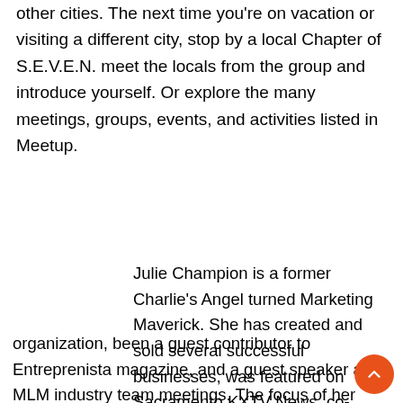other cities. The next time you're on vacation or visiting a different city, stop by a local Chapter of S.E.V.E.N. meet the locals from the group and introduce yourself. Or explore the many meetings, groups, events, and activities listed in Meetup.
Julie Champion is a former Charlie's Angel turned Marketing Maverick. She has created and sold several successful businesses, was featured on Sacramento KXTV News, co-authored a marketing handbook for a 100-year-old nonprofit organization, been a guest contributor to Entreprenista magazine, and a guest speaker at MLM industry team meetings. The focus of her busines